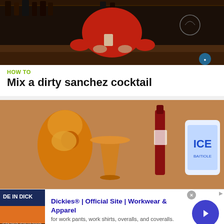[Figure (photo): Video thumbnail showing a bartender in red top behind a bar with bottles in background]
HOW TO
Mix a dirty sanchez cocktail
[Figure (photo): Video thumbnail showing cocktail ingredients: orange juice, a cocktail glass, a red bottle, and an ICE brand bag on a table]
[Figure (other): Advertisement: Dickies® | Official Site | Workwear & Apparel – for work pants, work shirts, overalls, and coveralls. www.dickies.com]